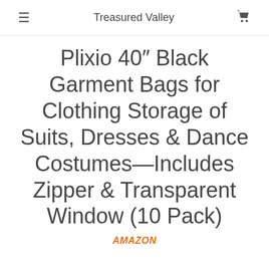≡  Treasured Valley  🛒
Plixio 40″ Black Garment Bags for Clothing Storage of Suits, Dresses & Dance Costumes—Includes Zipper & Transparent Window (10 Pack)
AMAZON